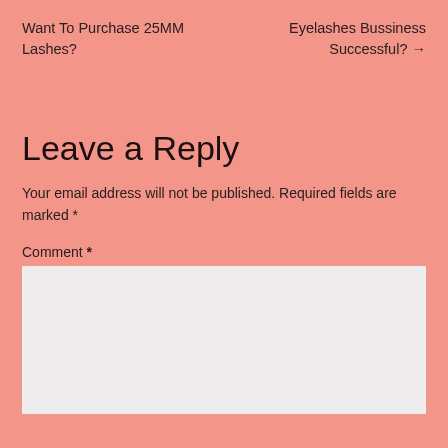Want To Purchase 25MM Lashes?
Eyelashes Bussiness Successful? →
Leave a Reply
Your email address will not be published. Required fields are marked *
Comment *